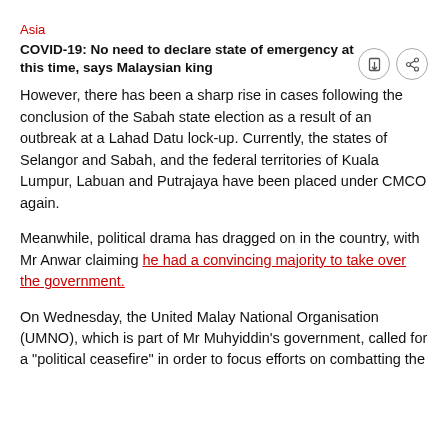Asia
COVID-19: No need to declare state of emergency at this time, says Malaysian king
However, there has been a sharp rise in cases following the conclusion of the Sabah state election as a result of an outbreak at a Lahad Datu lock-up. Currently, the states of Selangor and Sabah, and the federal territories of Kuala Lumpur, Labuan and Putrajaya have been placed under CMCO again.
Meanwhile, political drama has dragged on in the country, with Mr Anwar claiming he had a convincing majority to take over the government.
On Wednesday, the United Malay National Organisation (UMNO), which is part of Mr Muhyiddin's government, called for a "political ceasefire" in order to focus efforts on combatting the